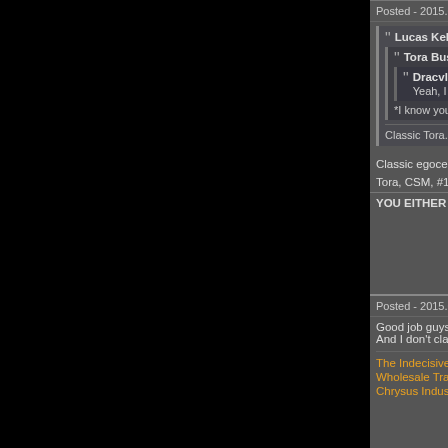Posted - 2015.04.22 13:46:59 - [413] -
Lucas Kell wrote:
Tora Bushido wrote:
Dracvlad wrote:
Yeah, I have noticed th...
*I know you are so what ar...
Classic Tora. And he wonders ...
Tora Bushido
EVE Corporation 987654321-POP
The Marmite Collective
👍 2319
Classic egocentric Lucas, who thinks h...
Tora, CSM, #19 of 75 , awesome !
YOU EITHER LOVE US OR WE HATE...
Posted - 2015.04.22 13:57:01 - [414] -
Good job guys, nice and original.
And I don't claim to know it all, I'm sim...
Lucas Kell
Internet Terrorists
SpaceMonkey's Alliance
👍 5369
The Indecisive Noob - EVE fan blog.
Wholesale Trading - The new bulk tra...
Chrysus Industries - Savings made sir...